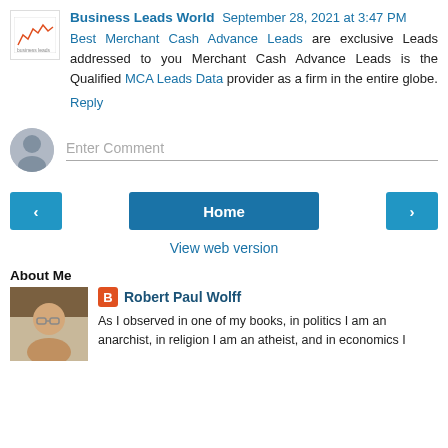Business Leads World September 28, 2021 at 3:47 PM
Best Merchant Cash Advance Leads are exclusive Leads addressed to you Merchant Cash Advance Leads is the Qualified MCA Leads Data provider as a firm in the entire globe.
Reply
Enter Comment
Home
View web version
About Me
Robert Paul Wolff
As I observed in one of my books, in politics I am an anarchist, in religion I am an atheist, and in economics I am a Marxist, and these are my sincere convictions